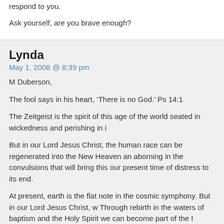respond to you.
Ask yourself, are you brave enough?
Lynda
May 1, 2008 @ 8:39 pm
M Duberson,
The fool says in his heart, ‘There is no God.’ Ps 14:1
The Zeitgeist is the spirit of this age of the world seated in wickedness and perishing in i
But in our Lord Jesus Christ, the human race can be regenerated into the New Heaven an aborning in the convulsions that will bring this our present time of distress to its end.
At present, earth is the flat note in the cosmic symphony. But in our Lord Jesus Christ, w Through rebirth in the waters of baptism and the Holy Spirit we can become part of the I Church and go on through death into the New Heaven and New Earth that shall be.
Ileana Stan
May 2, 2008 @ 8:21 am
The Rothschilds are geniuses in businesses, indeed. But, as real geniuses, there is a bad s They must understand, like David Rockefeller, that we, humans, are equals and should b